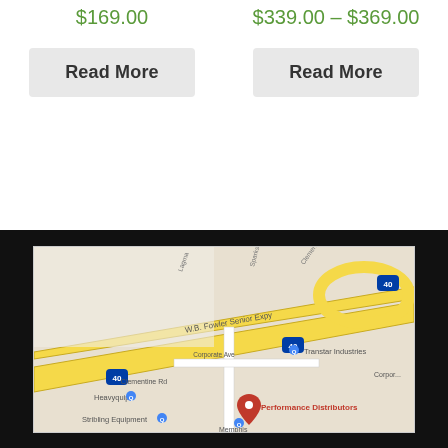$169.00
$339.00 – $369.00
Read More
Read More
[Figure (map): Google Maps screenshot showing W.B. Fowler Senior Expy area in Memphis, with markers for Performance Distributors, Heavyquip, Stribling Equipment, Memphis Chemical Janitorial, and Transtar Industries.]